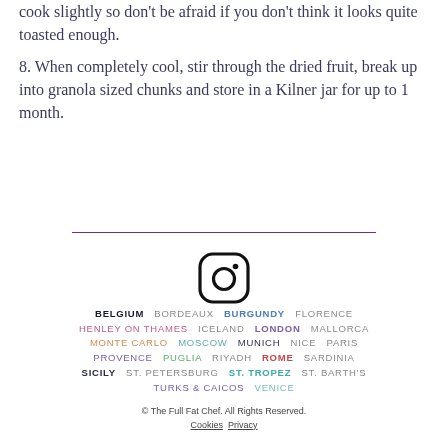cook slightly so don't be afraid if you don't think it looks quite toasted enough.
8. When completely cool, stir through the dried fruit, break up into granola sized chunks and store in a Kilner jar for up to 1 month.
[Figure (logo): Instagram logo icon - circle with rounded square border and small circle inside, with a dot in top right]
BELGIUM  BORDEAUX  BURGUNDY  FLORENCE  HENLEY ON THAMES  ICELAND  LONDON  MALLORCA  MONTE CARLO  MOSCOW  MUNICH  NICE  PARIS  PROVENCE  PUGLIA  RIYADH  ROME  SARDINIA  SICILY  ST. PETERSBURG  ST. TROPEZ  ST. BARTH'S  TURKS & CAICOS  VENICE
© The Full Fat Chef. All Rights Reserved.  Cookies  Privacy